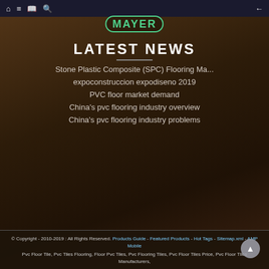Navigation bar with home, menu, book, search icons and back arrow
[Figure (logo): MAYER logo in green with rounded border]
LATEST NEWS
Stone Plastic Composite (SPC) Flooring Ma...
expoconstruccion expodiseno 2019
PVC floor market demand
China's pvc flooring industry overview
China's pvc flooring industry problems
© Copyright - 2010-2019 : All Rights Reserved. Products Guide - Featured Products - Hot Tags - Sitemap.xml - AMP Mobile
Pvc Floor Tile, Pvc Tiles Flooring, Floor Pvc Tiles, Pvc Flooring Tiles, Pvc Floor Tiles Price, Pvc Floor Tiles Manufacturers,